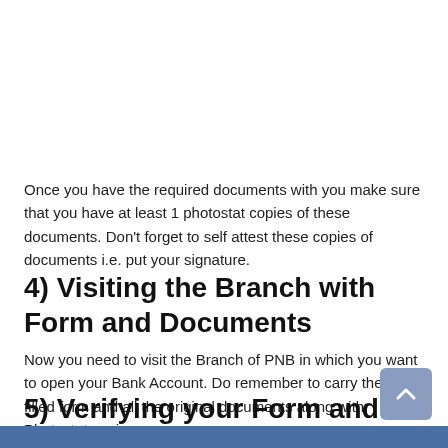Once you have the required documents with you make sure that you have at least 1 photostat copies of these documents. Don't forget to self attest these copies of documents i.e. put your signature.
4) Visiting the Branch with Form and Documents
Now you need to visit the Branch of PNB in which you want to open your Bank Account. Do remember to carry the duly filled form and all the original documents along with Photostat copies.
5) Verifying your Form and